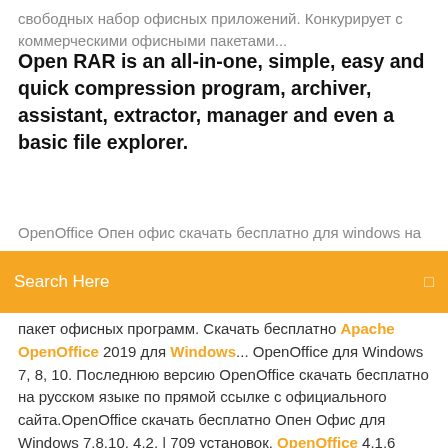свободных набор офисных приложений. Конкурирует с коммерческими офисными пакетами...
Open RAR is an all-in-one, simple, easy and quick compression program, archiver, assistant, extractor, manager and even a basic file explorer.
OpenOffice Опен офис скачать бесплатно для windows на
Search Here
пакет офисных программ. Скачать бесплатно Apache OpenOffice 2019 для Windows... OpenOffice для Windows 7, 8, 10. Последнюю версию OpenOffice скачать бесплатно на русском языке по прямой ссылке с официального сайта.OpenOffice скачать бесплатно Опен Офис для Windows 7,8,10. 4.2. | 709 установок. OpenOffice 4.1.6 скачать Опен Офис на русском языке Бесплатно. Размер: 134 Мб. Более 50 000 скачиваний. Windows, Mac OS, Linux, Android. OpenOffice (Опен Офис) – свободный набор офисных